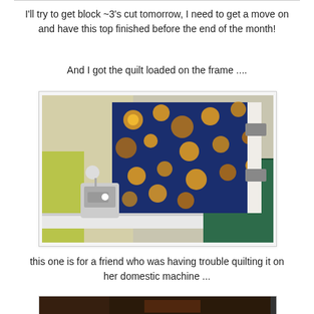I'll try to get block ~3's cut tomorrow, I need to get a move on and have this top finished before the end of the month!
And I got the quilt loaded on the frame ....
[Figure (photo): A quilt loaded on a quilting frame in a craft room. The quilt features a dark blue fabric with orange sun and moon patterns. A sewing machine is visible on the left side. Green mat and metal clamps are visible on the right.]
this one is for a friend who was having trouble quilting it on her domestic machine ...
[Figure (photo): Partial view of another quilt, bottom of page, cropped.]